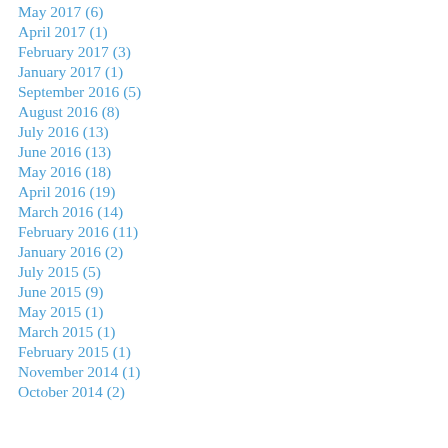May 2017 (6)
April 2017 (1)
February 2017 (3)
January 2017 (1)
September 2016 (5)
August 2016 (8)
July 2016 (13)
June 2016 (13)
May 2016 (18)
April 2016 (19)
March 2016 (14)
February 2016 (11)
January 2016 (2)
July 2015 (5)
June 2015 (9)
May 2015 (1)
March 2015 (1)
February 2015 (1)
November 2014 (1)
October 2014 (2)